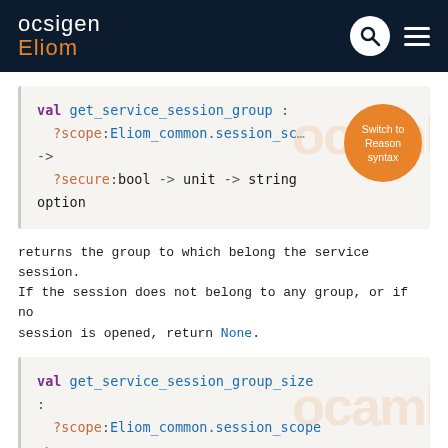ocsigen Eliom
[Figure (screenshot): Code block showing OCaml val signature: val get_service_session_group : ?scope:Eliom_common.session_scope -> ?secure:bool -> unit -> string option]
returns the group to which belong the service session. If the session does not belong to any group, or if no session is opened, return None.
[Figure (screenshot): Code block showing OCaml val signature: val get_service_session_group_size : ?scope:Eliom_common.session_scope ->]